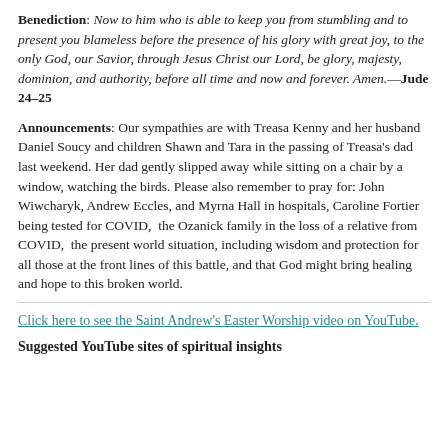Benediction: Now to him who is able to keep you from stumbling and to present you blameless before the presence of his glory with great joy, to the only God, our Savior, through Jesus Christ our Lord, be glory, majesty, dominion, and authority, before all time and now and forever. Amen.—Jude 24–25
Announcements: Our sympathies are with Treasa Kenny and her husband Daniel Soucy and children Shawn and Tara in the passing of Treasa's dad last weekend. Her dad gently slipped away while sitting on a chair by a window, watching the birds. Please also remember to pray for: John Wiwcharyk, Andrew Eccles, and Myrna Hall in hospitals, Caroline Fortier being tested for COVID, the Ozanick family in the loss of a relative from COVID, the present world situation, including wisdom and protection for all those at the front lines of this battle, and that God might bring healing and hope to this broken world.
Click here to see the Saint Andrew's Easter Worship video on YouTube.
Suggested YouTube sites of spiritual insights